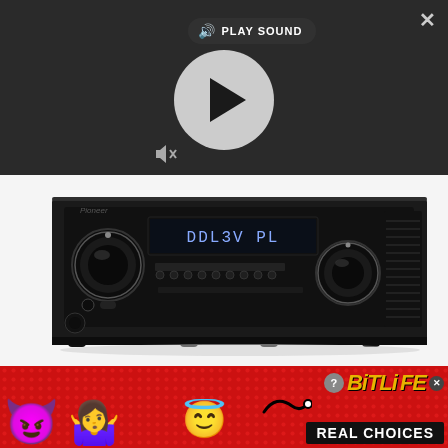[Figure (screenshot): A dark overlay showing a video/audio player UI with a 'PLAY SOUND' label at top, a large circular play button in the center, and a muted speaker icon at the bottom left. An X close button is at the top right.]
[Figure (photo): A Pioneer AV receiver (black, front-facing) showing two large control knobs, a digital display reading 'DDL3V PL', and various control buttons on the front panel.]
Despite the Pioneer's consuming soundfield, the more majestic Yamaha RX-V381 takes grandiose one
[Figure (infographic): A BitLife advertisement banner with red polka-dot background, devil emoji, person emoji (woman raising hands), angel emoji, a swirl graphic, and BitLife logo with 'REAL CHOICES' text in a black bar.]